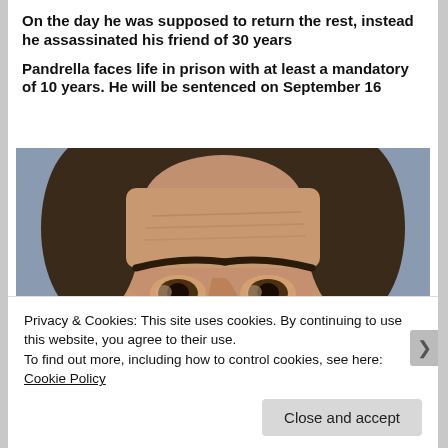On the day he was supposed to return the rest, instead he assassinated his friend of 30 years
Pandrella faces life in prison with at least a mandatory of 10 years. He will be sentenced on September 16
[Figure (photo): Mugshot-style close-up photograph of a middle-aged man with dark thinning hair and prominent eyebrows against a gray background]
Privacy & Cookies: This site uses cookies. By continuing to use this website, you agree to their use.
To find out more, including how to control cookies, see here: Cookie Policy
Close and accept